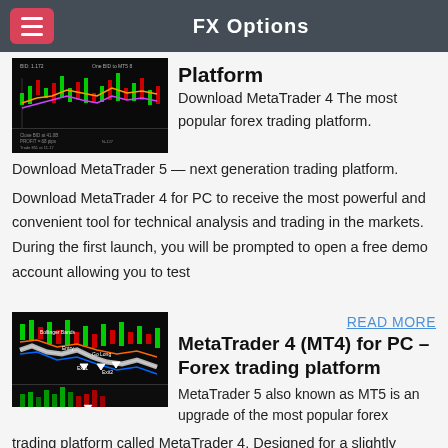FX Options
[Figure (screenshot): MetaTrader 4 trading platform chart screenshot showing candlestick chart]
Platform
Download MetaTrader 4 The most popular forex trading platform.
Download MetaTrader 5 — next generation trading platform.
Download MetaTrader 4 for PC to receive the most powerful and convenient tool for technical analysis and trading in the markets. During the first launch, you will be prompted to open a free demo account allowing you to test
READ MORE
[Figure (screenshot): MetaTrader trading platform chart screenshot with indicators]
MetaTrader 4 (MT4) for PC – Forex trading platform
MetaTrader 5 also known as MT5 is an upgrade of the most popular forex trading platform called MetaTrader 4. Designed for a slightly different target, MT5 allows users to trade both stocks and